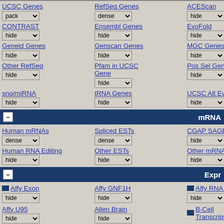UCSC Genes / pack
RefSeq Genes / dense
ACEScan / hide
CONTRAST / hide
Ensembl Genes / hide
EvoFold / hide
Geneid Genes / hide
Genscan Genes / hide
MGC Genes / hide
Other RefSeq / hide
Pfam in UCSC Gene / hide
Pos Sel Genes / hide
sno/miRNA / hide
tRNA Genes / hide
UCSC Alt Events / hide
mRNA
Human mRNAs / dense
Spliced ESTs / dense
CGAP SAGE / hide
Human RNA Editing / hide
Other ESTs / hide
Other mRNAs / hide
Expr
Affy Exon / hide
Affy GNF1H / hide
Affy RNA Loc / hide
Affy U95 / hide
Allen Brain / hide
B-Cell Transcriptome / hide